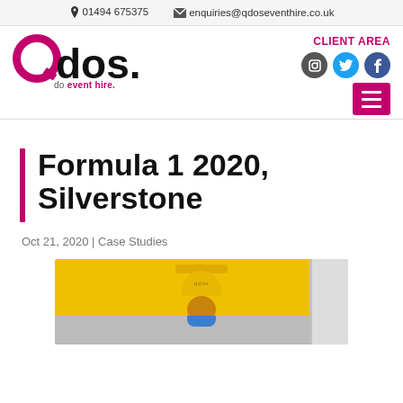📞 01494 675375  ✉ enquiries@qdoseventhire.co.uk
[Figure (logo): Qdos event hire logo — large magenta Q followed by 'dos.' in black, tagline 'do event hire.' below in magenta/grey]
CLIENT AREA
[Figure (illustration): Social media icons: Instagram (dark circle), Twitter (blue circle), Facebook (blue circle), and a magenta hamburger menu button]
Formula 1 2020, Silverstone
Oct 21, 2020 | Case Studies
[Figure (photo): Person wearing a yellow jacket and yellow cap with Qdos branding, viewed from behind/side, standing in front of a grey/white structure]